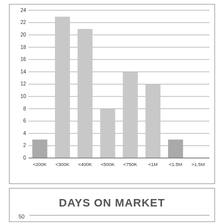[Figure (bar-chart): ]
DAYS ON MARKET